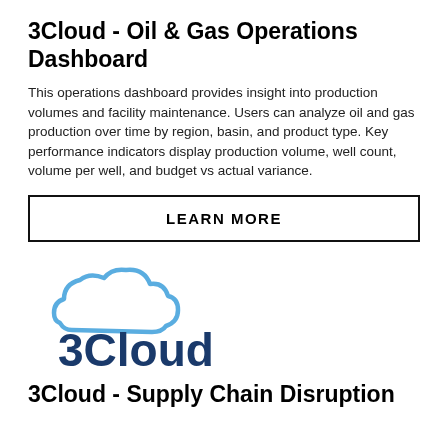3Cloud - Oil & Gas Operations Dashboard
This operations dashboard provides insight into production volumes and facility maintenance. Users can analyze oil and gas production over time by region, basin, and product type. Key performance indicators display production volume, well count, volume per well, and budget vs actual variance.
LEARN MORE
[Figure (logo): 3Cloud company logo: a blue cloud outline above the text '3Cloud' in bold blue letters]
3Cloud - Supply Chain Disruption